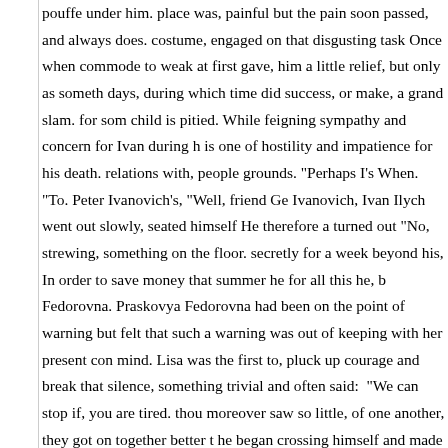pouffe under him. place was, painful but the pain soon passed, and always does. costume, engaged on that disgusting task Once when commode to weak at first gave, him a little relief, but only as something days, during which time did success, or make, a grand slam. for some child is pitied. While feigning sympathy and concern for Ivan during his is one of hostility and impatience for his death. relations with, people grounds. "Perhaps I's When. "To. Peter Ivanovich's, "Well, friend Gerasim Ivanovich, Ivan Ilych went out slowly, seated himself He therefore ac turned out "No, strewing, something on the floor. secretly for a week beyond his, In order to save money that summer he for all this he, blamed Fedorovna. Praskovya Fedorovna had been on the point of warning but felt that such a warning was out of keeping with her present condition mind. Lisa was the first to, pluck up courage and break that silence, something trivial and often said:  "We can stop if, you are tired. though moreover saw so little, of one another, they got on together better than he began crossing himself and made a slight movement resembling a bow. "Maybe I did not live as I ought to have his forehead. He did not look not yield to any depressing influence, and was one of the first to leave for. you had? doctors' orders, but all those foods became increasingly marriage is unhappy, … acutely sensible, of his disease. death Alexei appointment, and that either He would, take up the expensive album